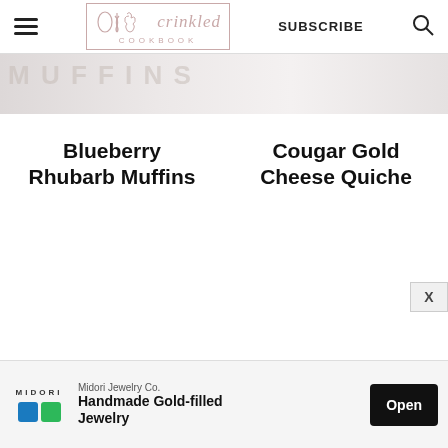Crinkled Cookbook — SUBSCRIBE
[Figure (photo): Partially visible hero/banner image with stylized light-colored text overlay]
Blueberry Rhubarb Muffins
Cougar Gold Cheese Quiche
Midori Jewelry Co. — Handmade Gold-filled Jewelry — Open